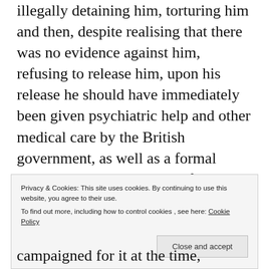illegally detaining him, torturing him and then, despite realising that there was no evidence against him, refusing to release him, upon his release he should have immediately been given psychiatric help and other medical care by the British government, as well as a formal apology and compensation for the role they undoubtedly played in his ordeal; instead, al-Harith had to wait until David Cameron was in power before he received any compensation, despite being released in 2004.
Privacy & Cookies: This site uses cookies. By continuing to use this website, you agree to their use. To find out more, including how to control cookies, see here: Cookie Policy
campaigned for it at the time, however, Blair's